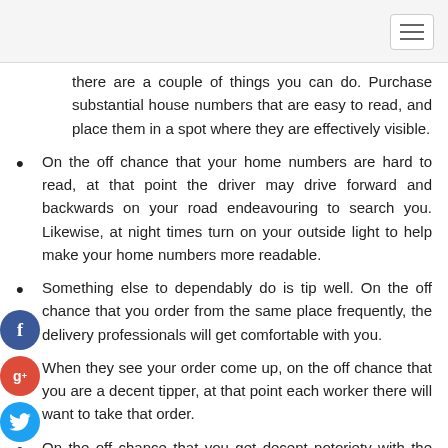there are a couple of things you can do. Purchase substantial house numbers that are easy to read, and place them in a spot where they are effectively visible.
On the off chance that your home numbers are hard to read, at that point the driver may drive forward and backwards on your road endeavouring to search you. Likewise, at night times turn on your outside light to help make your home numbers more readable.
Something else to dependably do is tip well. On the off chance that you order from the same place frequently, the delivery professionals will get comfortable with you.
When they see your order come up, on the off chance that you are a decent tipper, at that point each worker there will want to take that order.
On the off chance that you get decent notoriety with the workers, your orders will turn into a need with them right away and they will deliver your food as soon as possible.